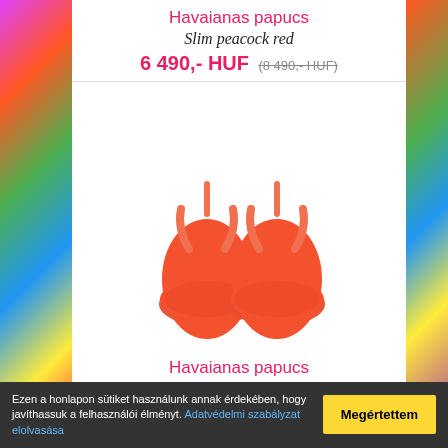Havaianas papucs Slim peacock red
6 490,- HUF (8 490,- HUF)
[Figure (photo): Red/orange Havaianas Slim flip flop sandals pair on white background]
Havaianas papucs Slim pumpkin
Ezen a honlapon sütiket használunk annak érdekében, hogy javíthassuk a felhasználói élményt. Adatvédelmi szabályzat elolvasása
Megértettem